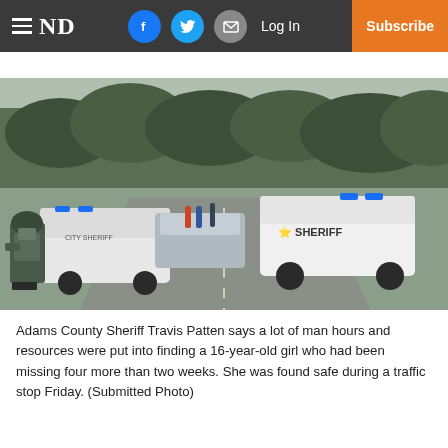ND | Facebook | Twitter | Email | Log In | Subscribe
[Figure (photo): Multiple Sheriff and law enforcement vehicles parked on a rural road with lights on, an officer in tactical gear walking in foreground, wooded area in background.]
Adams County Sheriff Travis Patten says a lot of man hours and resources were put into finding a 16-year-old girl who had been missing four more than two weeks. She was found safe during a traffic stop Friday. (Submitted Photo)